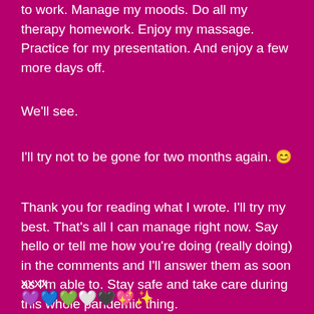to work. Manage my moods. Do all my therapy homework. Enjoy my massage. Practice for my presentation. And enjoy a few more days off.
We'll see.
I'll try not to be gone for two months again. 😊
Thank you for reading what I wrote. I'll try my best. That's all I can manage right now. Say hello or tell me how you're doing (really doing) in the comments and I'll answer them as soon as I'm able to. Stay safe and take care during this whole pandemic thing.
xxxx
[Figure (illustration): Row of heart emojis: purple heart, blue heart, green heart, white heart, dark green heart, sparkling heart, and a sparkles emoji]